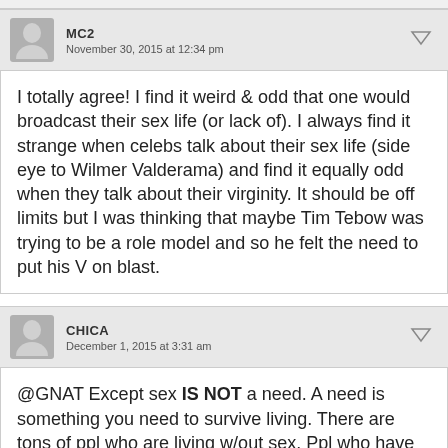MC2
November 30, 2015 at 12:34 pm
I totally agree! I find it weird & odd that one would broadcast their sex life (or lack of). I always find it strange when celebs talk about their sex life (side eye to Wilmer Valderama) and find it equally odd when they talk about their virginity. It should be off limits but I was thinking that maybe Tim Tebow was trying to be a role model and so he felt the need to put his V on blast.
CHICA
December 1, 2015 at 3:31 am
@GNAT Except sex IS NOT a need. A need is something you need to survive living. There are tons of ppl who are living w/out sex. Ppl who have previously had sex. It is an urge that can